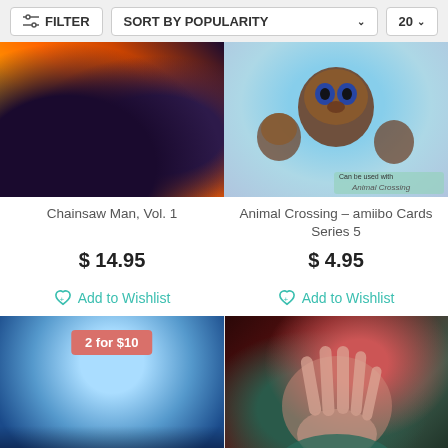FILTER   SORT BY POPULARITY   20
[Figure (photo): Chainsaw Man Vol. 1 manga cover with colorful action artwork]
[Figure (photo): Animal Crossing amiibo Cards Series 5 product image with Tom Nook and other characters]
Chainsaw Man, Vol. 1
Animal Crossing – amiibo Cards Series 5
$ 14.95
$ 4.95
Add to Wishlist
Add to Wishlist
[Figure (photo): Yu-Gi-Oh Dawn of Majesty booster box product image with badge '2 for $10']
[Figure (photo): Jujutsu Kaisen anime/manga character artwork showing character with hand over face]